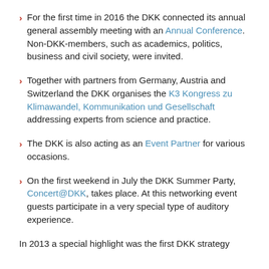For the first time in 2016 the DKK connected its annual general assembly meeting with an Annual Conference. Non-DKK-members, such as academics, politics, business and civil society, were invited.
Together with partners from Germany, Austria and Switzerland the DKK organises the K3 Kongress zu Klimawandel, Kommunikation und Gesellschaft addressing experts from science and practice.
The DKK is also acting as an Event Partner for various occasions.
On the first weekend in July the DKK Summer Party, Concert@DKK, takes place. At this networking event guests participate in a very special type of auditory experience.
In 2013 a special highlight was the first DKK strategy